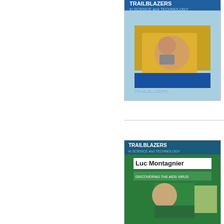[Figure (illustration): Book cover for Trailblazers in Science and Technology series - first entry (partially visible top)]
Trailblaze
Hardcover
List Price:
[Figure (illustration): Book cover: Luc Montagnier - Trailblazers in Science and Technology series]
Luc Mo
Trailblaze
Hardcover
List Price:
[Figure (illustration): Book cover: Nikola Tesla - Trailblazers in Science and Technology series]
Nikola T
Trailblaze
Hardcover
List Price: